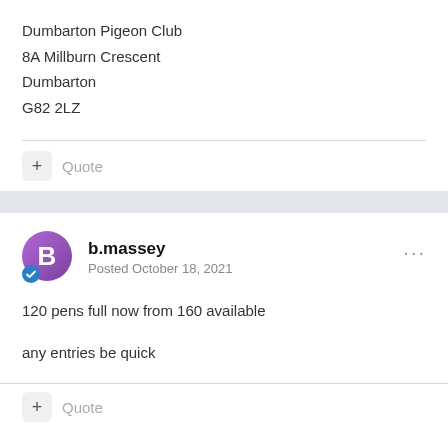Dumbarton Pigeon Club
8A Millburn Crescent
Dumbarton
G82 2LZ
Quote
b.massey
Posted October 18, 2021
120 pens full now from 160 available
any entries be quick
Quote